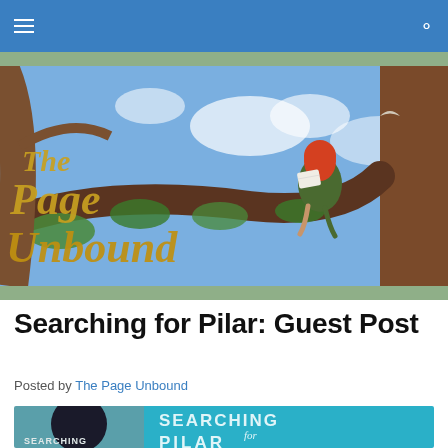The Page Unbound — navigation bar
[Figure (illustration): The Page Unbound blog banner: a girl with red hair sitting on a tree branch reading a book, with gold decorative script reading 'The Page Unbound' on a blue sky background.]
Searching for Pilar: Guest Post
Posted by The Page Unbound
[Figure (illustration): Book cover image for 'Searching for Pilar' showing a figure with dark hair on a teal/blue background, with the text 'SEARCHING FOR PILAR' visible.]